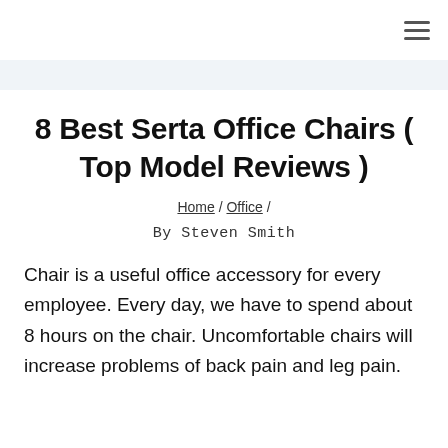≡ (hamburger menu icon)
8 Best Serta Office Chairs ( Top Model Reviews )
Home / Office /
By Steven Smith
Chair is a useful office accessory for every employee. Every day, we have to spend about 8 hours on the chair. Uncomfortable chairs will increase problems of back pain and leg pain.